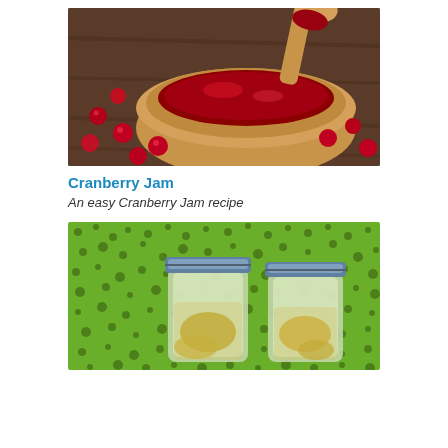[Figure (photo): A wooden bowl filled with red cranberry jam, with a wooden spoon, and fresh cranberries scattered on a wooden table surface.]
Cranberry Jam
An easy Cranberry Jam recipe
[Figure (photo): Two glass mason jars with blue lids containing pickles in brine, placed on a bright green textured background with dark spots.]